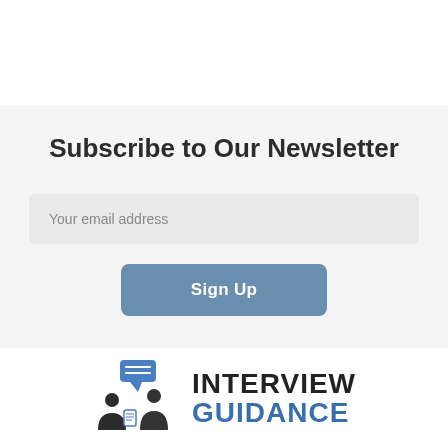Subscribe to Our Newsletter
Your email address
Sign Up
[Figure (logo): Interview Guidance logo with two figures in silhouette and a speech bubble icon, alongside bold text reading INTERVIEW GUIDANCE]